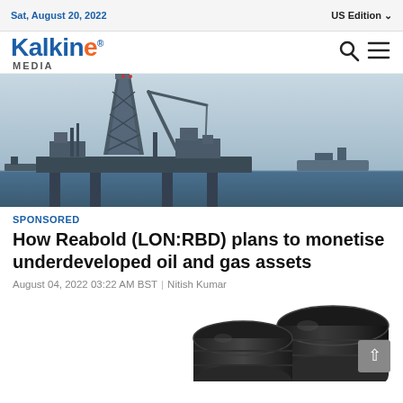Sat, August 20, 2022 | US Edition
[Figure (logo): Kalkine Media logo with blue and orange text]
[Figure (photo): Offshore oil drilling platform/rig at sea with cranes and industrial structures visible against a light sky]
SPONSORED
How Reabold (LON:RBD) plans to monetise underdeveloped oil and gas assets
August 04, 2022 03:22 AM BST | Nitish Kumar
[Figure (photo): Black oil barrels/drums partially visible at bottom of page]